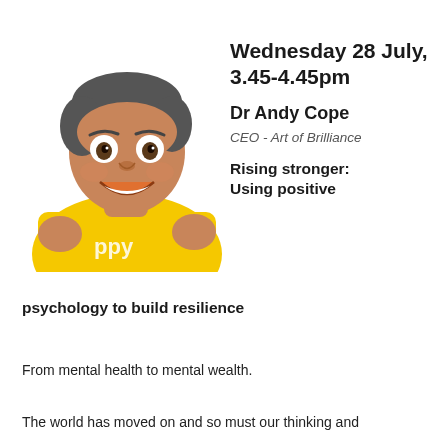[Figure (photo): A smiling man in a yellow t-shirt with wide excited expression, photo taken from slightly above, white background]
Wednesday 28 July, 3.45-4.45pm
Dr Andy Cope
CEO - Art of Brilliance
Rising stronger: Using positive psychology to build resilience
From mental health to mental wealth.
The world has moved on and so must our thinking and